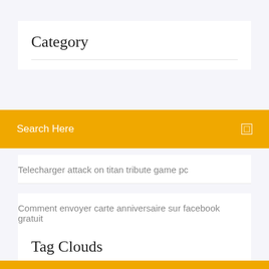Category
Search Here
Telecharger attack on titan tribute game pc
Comment envoyer carte anniversaire sur facebook gratuit
Tag Clouds